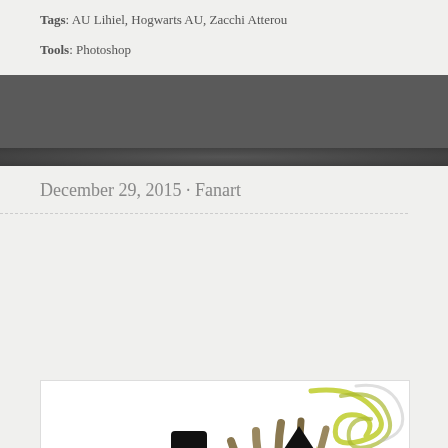Tags: AU Lihiel, Hogwarts AU, Zacchi Atterou
Tools: Photoshop
December 29, 2015 · Fanart
[Figure (illustration): Two pigeons/birds dressed as Hogwarts wizards. The left bird wears a black wide-brim hat and a yellow-striped Hufflepuff scarf with a satchel. The right bird wears a black pointed witch hat with green band and a green-striped Slytherin scarf, holding a wand with yellow-green magical smoke curling from it. Artist signature: Kiriska 2015, kiriska.tumblr.com]